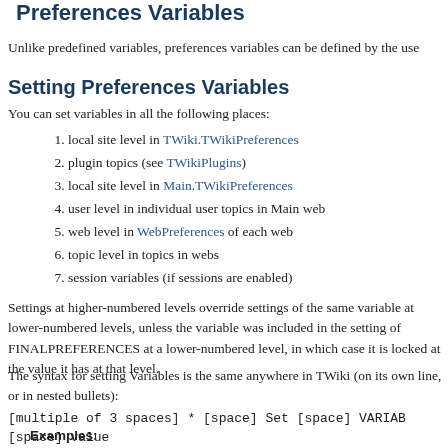Preferences Variables
Unlike predefined variables, preferences variables can be defined by the use
Setting Preferences Variables
You can set variables in all the following places:
1. local site level in TWiki.TWikiPreferences
2. plugin topics (see TWikiPlugins)
3. local site level in Main.TWikiPreferences
4. user level in individual user topics in Main web
5. web level in WebPreferences of each web
6. topic level in topics in webs
7. session variables (if sessions are enabled)
Settings at higher-numbered levels override settings of the same variable at lower-numbered levels, unless the variable was included in the setting of FINALPREFERENCES at a lower-numbered level, in which case it is locked at the value it has at that level.
The syntax for setting Variables is the same anywhere in TWiki (on its own line, or in nested bullets):
[multiple of 3 spaces] * [space] Set [space] VARIAB
[space] value
Examples: